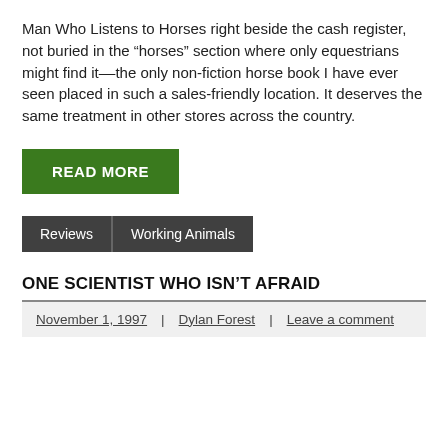Man Who Listens to Horses right beside the cash register, not buried in the “horses” section where only equestrians might find it––the only non-fiction horse book I have ever seen placed in such a sales-friendly location. It deserves the same treatment in other stores across the country.
READ MORE
Reviews | Working Animals
ONE SCIENTIST WHO ISN’T AFRAID
November 1, 1997 | Dylan Forest | Leave a comment